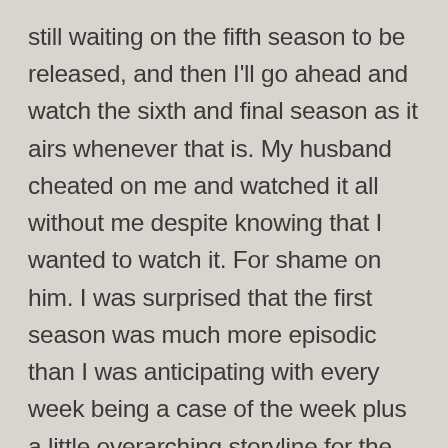still waiting on the fifth season to be released, and then I'll go ahead and watch the sixth and final season as it airs whenever that is. My husband cheated on me and watched it all without me despite knowing that I wanted to watch it. For shame on him. I was surprised that the first season was much more episodic than I was anticipating with every week being a case of the week plus a little overarching storyline for the season. Based on what I had gathered about the show before watching it it wasn't what I was expecting. The rest of the seasons definitely abandon that though and became much more of the show I was expecting. Definitely the second